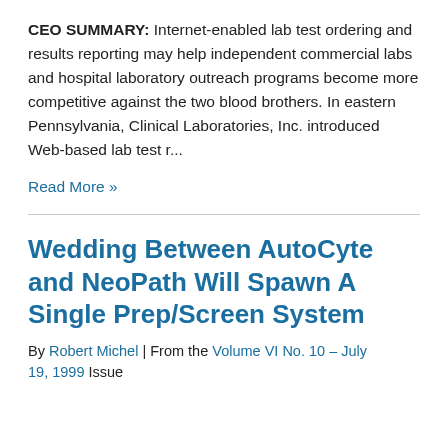CEO SUMMARY: Internet-enabled lab test ordering and results reporting may help independent commercial labs and hospital laboratory outreach programs become more competitive against the two blood brothers. In eastern Pennsylvania, Clinical Laboratories, Inc. introduced Web-based lab test r...
Read More »
Wedding Between AutoCyte and NeoPath Will Spawn A Single Prep/Screen System
By Robert Michel | From the Volume VI No. 10 – July 19, 1999 Issue